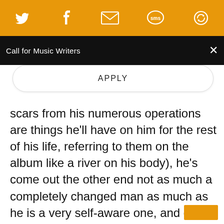[Figure (screenshot): Orange social sharing toolbar with Twitter, Facebook, email, SMS, and another icon in white on orange background]
Call for Music Writers
APPLY
scars from his numerous operations are things he'll have on him for the rest of his life, referring to them on the album like a river on his body), he's come out the other end not as much a completely changed man as much as he is a very self-aware one, and one who understands the value of life far greater than he has before. On “Long Live the Hudson River Valley”, his final lyric is about how